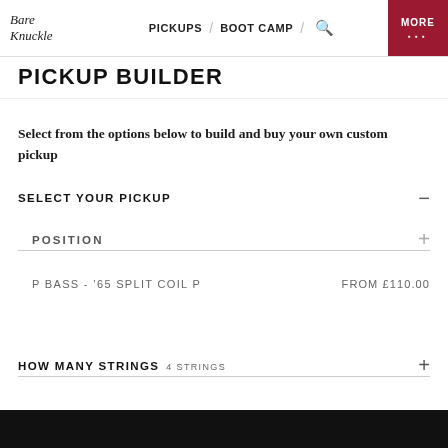Bare Knuckle | PICKUPS / BOOT CAMP / MORE
PICKUP BUILDER
Select from the options below to build and buy your own custom pickup
SELECT YOUR PICKUP
POSITION
P BASS - '65 SPLIT COIL P    FROM £110.00
HOW MANY STRINGS  4 STRINGS